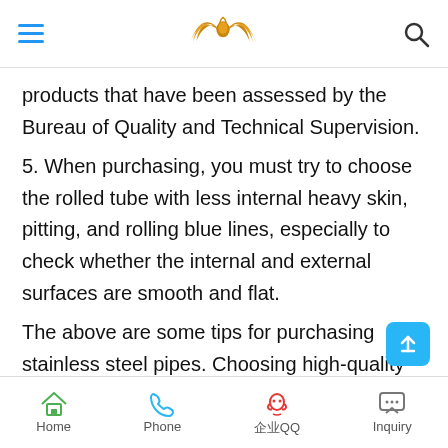[hamburger menu] [logo] [search icon]
products that have been assessed by the Bureau of Quality and Technical Supervision.
5. When purchasing, you must try to choose the rolled tube with less internal heavy skin, pitting, and rolling blue lines, especially to check whether the internal and external surfaces are smooth and flat.
The above are some tips for purchasing stainless steel pipes. Choosing high-quality stainless steel pipes not only has the advantages of safety, reliability, hygiene and environmental protection, but
Home  Phone  企业QQ  Inquiry